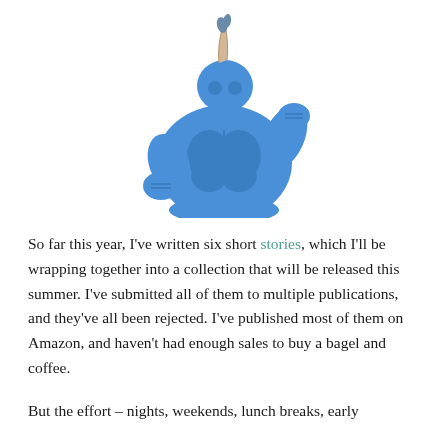[Figure (illustration): A cartoon/illustration of a muscular blue humanoid figure (resembling 'The Tick' superhero character) in a flexing pose with fists raised, wearing what appears to be an antenna on its head.]
So far this year, I've written six short stories, which I'll be wrapping together into a collection that will be released this summer. I've submitted all of them to multiple publications, and they've all been rejected. I've published most of them on Amazon, and haven't had enough sales to buy a bagel and coffee.
But the effort – nights, weekends, lunch breaks, early